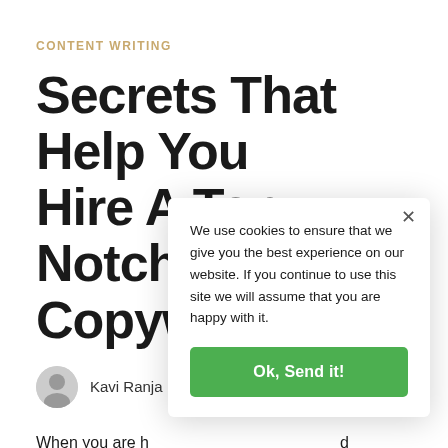CONTENT WRITING
Secrets That Help You Hire A Top Notch Copywriter
Kavi Ranja
When you are h... a good one is a... writing articles... capable of han... pages, social media lead-ins, Meta descriptions, web content, CTAs, marketing emails, and more.
We use cookies to ensure that we give you the best experience on our website. If you continue to use this site we will assume that you are happy with it.